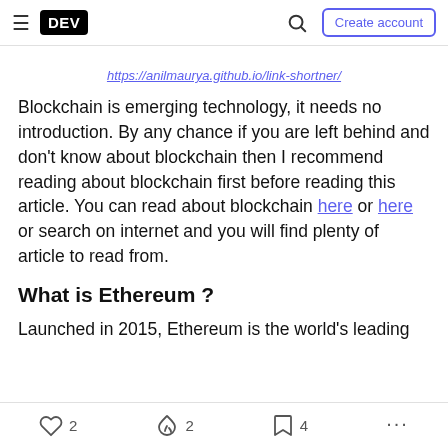DEV — Create account
https://anilmaurya.github.io/link-shortner/
Blockchain is emerging technology, it needs no introduction. By any chance if you are left behind and don't know about blockchain then I recommend reading about blockchain first before reading this article. You can read about blockchain here or here or search on internet and you will find plenty of article to read from.
What is Ethereum ?
Launched in 2015, Ethereum is the world's leading
2  2  4  ...